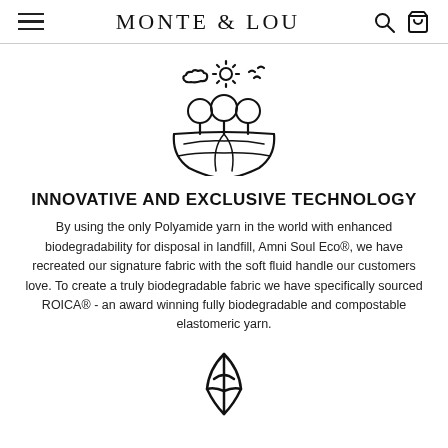MONTE & LOU
[Figure (illustration): Line art icon of a globe/earth with trees on top and sun and birds above it, representing eco/sustainability theme]
INNOVATIVE AND EXCLUSIVE TECHNOLOGY
By using the only Polyamide yarn in the world with enhanced biodegradability for disposal in landfill, Amni Soul Eco®, we have recreated our signature fabric with the soft fluid handle our customers love. To create a truly biodegradable fabric we have specifically sourced ROICA® - an award winning fully biodegradable and compostable elastomeric yarn.
[Figure (illustration): Line art icon of a pen nib or similar shape, representing craft/quality]